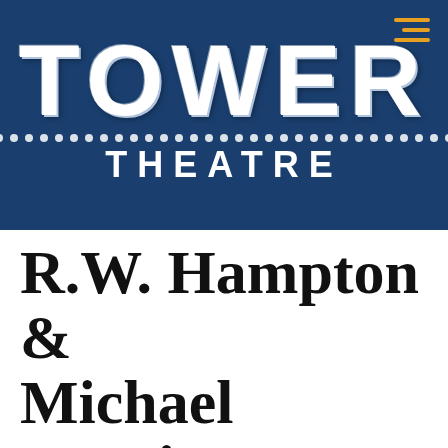[Figure (logo): Tower Theatre logo on dark navy blue background with large white bold TOWER text, decorative dots row, and THEATRE text below]
R.W. Hampton & Michael Martin Murphey